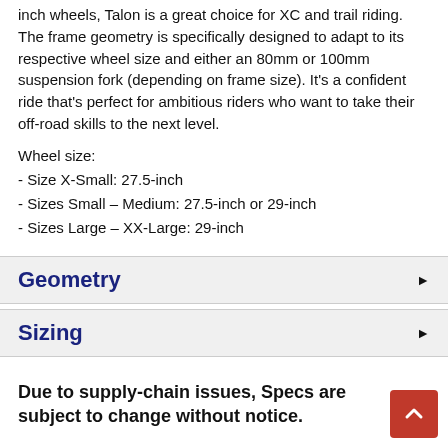inch wheels, Talon is a great choice for XC and trail riding. The frame geometry is specifically designed to adapt to its respective wheel size and either an 80mm or 100mm suspension fork (depending on frame size). It's a confident ride that's perfect for ambitious riders who want to take their off-road skills to the next level.
Wheel size:
- Size X-Small: 27.5-inch
- Sizes Small – Medium: 27.5-inch or 29-inch
- Sizes Large – XX-Large: 29-inch
Geometry
Sizing
Due to supply-chain issues, Specs are subject to change without notice.